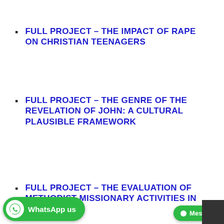FULL PROJECT – THE IMPACT OF RAPE ON CHRISTIAN TEENAGERS
FULL PROJECT – THE GENRE OF THE REVELATION OF JOHN: A CULTURAL PLAUSIBLE FRAMEWORK
FULL PROJECT – THE EVALUATION OF METHODIST MISSIONARY ACTIVITIES IN ...